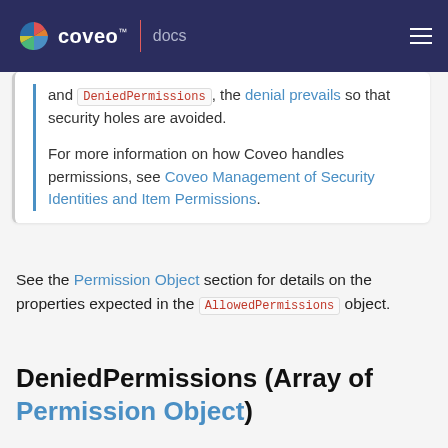coveo™ | docs
and DeniedPermissions, the denial prevails so that security holes are avoided.

For more information on how Coveo handles permissions, see Coveo Management of Security Identities and Item Permissions.
See the Permission Object section for details on the properties expected in the AllowedPermissions object.
DeniedPermissions (Array of Permission Object)
We use cookies to enhance site navigation, analyze site usage